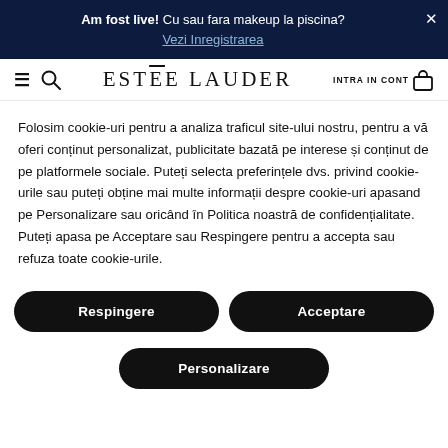Am fost live! Cu sau fara makeup la piscina? Vezi Inregistrarea
[Figure (screenshot): Estee Lauder website navigation bar with hamburger menu, search icon, brand logo, account button and cart icon]
Folosim cookie-uri pentru a analiza traficul site-ului nostru, pentru a vă oferi conținut personalizat, publicitate bazată pe interese și conținut de pe platformele sociale. Puteți selecta preferințele dvs. privind cookie-urile sau puteți obține mai multe informații despre cookie-uri apasand pe Personalizare sau oricând în Politica noastră de confidențialitate. Puteți apasa pe Acceptare sau Respingere pentru a accepta sau refuza toate cookie-urile.
Respingere
Acceptare
Personalizare